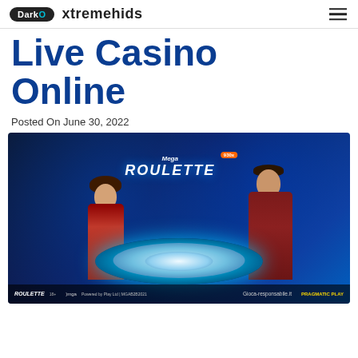DarkO xtremehids
Live Casino Online
Posted On June 30, 2022
[Figure (photo): Live casino Mega Roulette game show with two hosts in red velvet outfits standing behind a roulette wheel on a blue-lit studio set. Text 'MEGA ROULETTE' visible on screen background. Bottom bar shows MGA, Gioca-responsabile.it, and PRAGMATIC PLAY logos.]